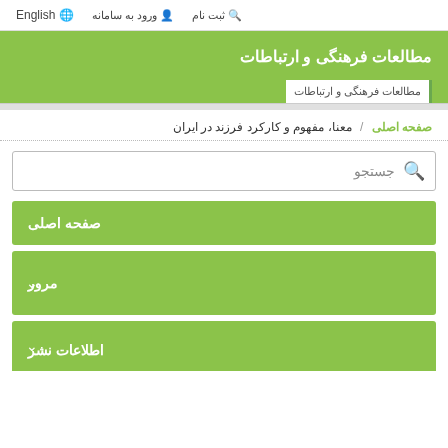English  ورود به سامانه  ثبت نام
مطالعات فرهنگی و ارتباطات
مطالعات فرهنگی و ارتباطات
صفحه اصلی / معنا، مفهوم و کارکرد فرزند در ایران
جستجو
صفحه اصلی
مرور
اطلاعات نشر